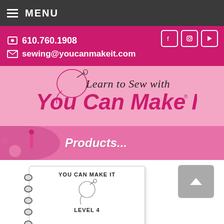≡ MENU
610.760.1908
sewing@youcanmakeit.com
[Figure (logo): Learn to Sew with You Can Make It logo with needle and thread graphic on pink background]
Products...
[Figure (photo): You Can Make It sewing notebook product — spiral bound with logo and LEVEL 4 text visible]